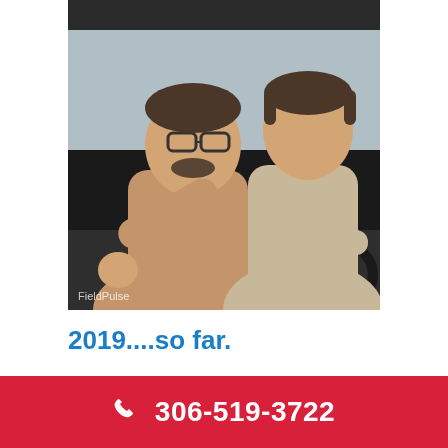[Figure (photo): Two men inside a car — an older man with glasses gesturing with his hand toward the dashboard, and a younger man at the steering wheel. A 'FieldPulse' watermark is visible in the lower left of the image.]
2019....so far.
306-519-3722